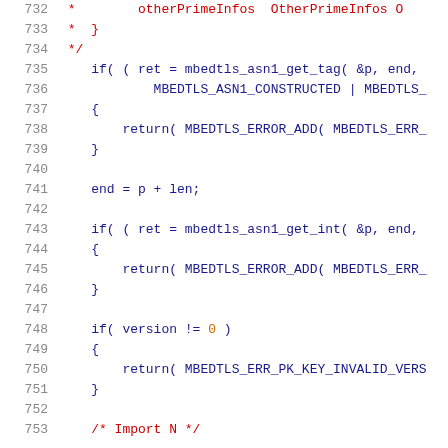Source code listing lines 732-753, C language, showing RSA/ASN1 parsing code using mbedtls library functions.